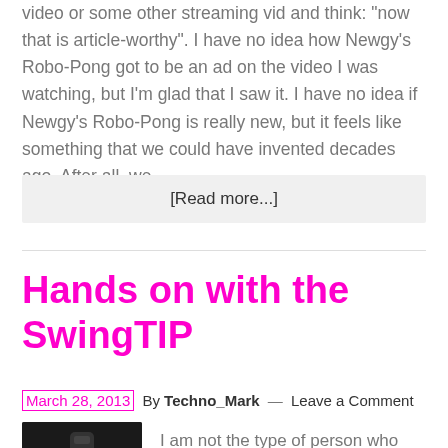video or some other streaming vid and think: 'now that is article-worthy'. I have no idea how Newgy's Robo-Pong got to be an ad on the video I was watching, but I'm glad that I saw it. I have no idea if Newgy's Robo-Pong is really new, but it feels like something that we could have invented decades ago. After all, we ...
[Read more...]
Hands on with the SwingTIP
March 28, 2013 By Techno_Mark — Leave a Comment
I am not the type of person who